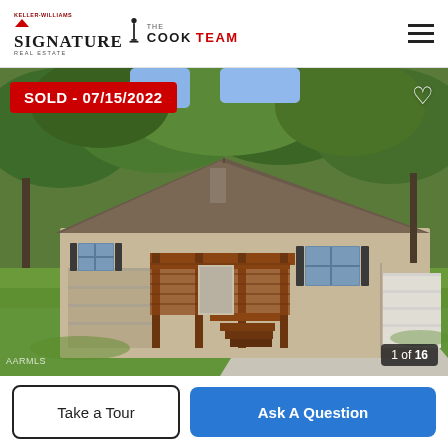[Figure (logo): Keller Williams Signature Real Estate — The Cook Team logo in header]
[Figure (photo): Exterior photo of a single-story ranch-style house with tan/beige siding, brown wooden deck with stairs, attached garage, set on a green lawn with trees in the background. SOLD badge dated 07/15/2022 overlay in top left. Heart icon top right. Photo counter '1 of 16' bottom right. AARMLS watermark bottom left.]
SOLD - 07/15/2022
1 of 16
AARMLS
Take a Tour
Ask A Question